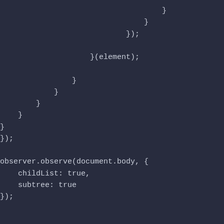}
                                }
                            });

                    }(element);

                }
            }
        }
    }
}
});

observer.observe(document.body, {
    childList: true,
    subtree: true
});